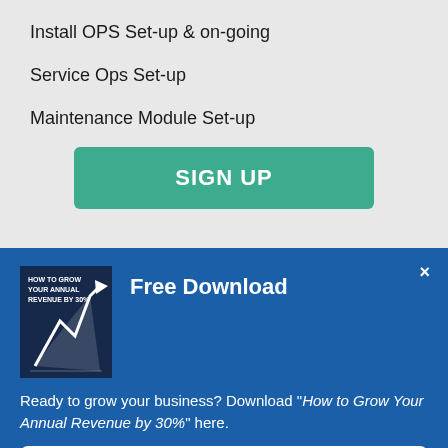Install OPS Set-up & on-going
Service Ops Set-up
Maintenance Module Set-up
SIGN UP
Free Download
[Figure (illustration): Book cover: How to Grow Your Annual Revenue by 30% with upward arrow graphic]
Ready to grow your business? Download "How to Grow Your Annual Revenue by 30%" here.
Download